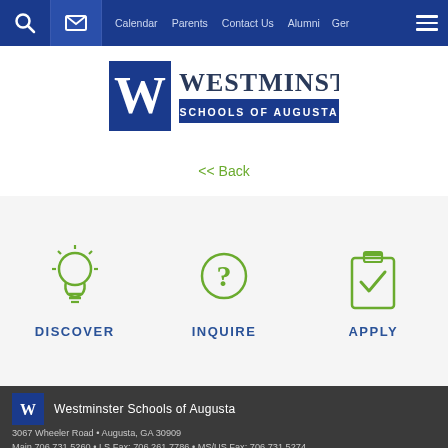Calendar  Parents  Contact Us  Alumni  Ger
[Figure (logo): Westminster Schools of Augusta logo with W in blue box]
<< Back
[Figure (infographic): Three action icons: DISCOVER (lightbulb), INQUIRE (question mark circle), APPLY (clipboard with checkmark)]
Westminster Schools of Augusta | 3067 Wheeler Road • Augusta, GA 30909 | Main 706.731.5260 • LS Fax: 706.261.7786 • MS/US Fax: 706.731.5274